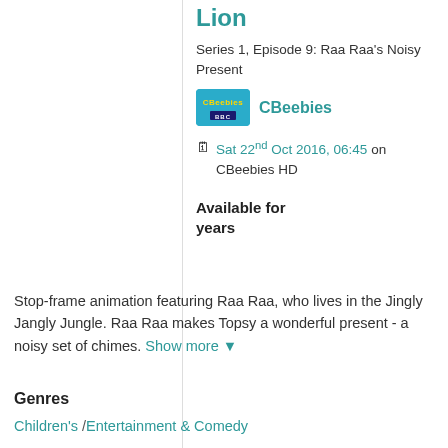Lion
Series 1, Episode 9: Raa Raa's Noisy Present
[Figure (logo): CBeebies BBC channel logo on teal background]
CBeebies
Sat 22nd Oct 2016, 06:45 on CBeebies HD
Available for years
Stop-frame animation featuring Raa Raa, who lives in the Jingly Jangly Jungle. Raa Raa makes Topsy a wonderful present - a noisy set of chimes. Show more
Genres
Children's / Entertainment & Comedy